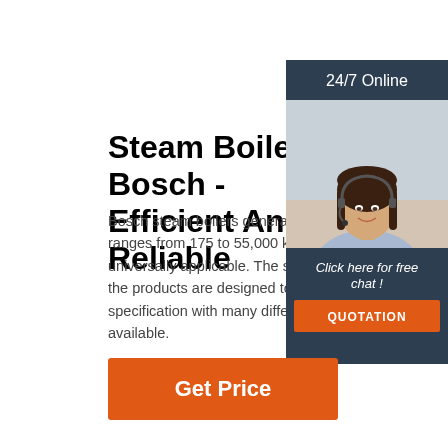Steam Boilers From Bosch - Efficient And Reliable
Bosch steam boilers generate process heat wi ranges from 175 to 55,000 kilograms per hour universally applicable. The sizing and equipme the products are designed to individual custom specification with many different options and v available.
[Figure (infographic): Customer service representative widget with '24/7 Online' header, photo of smiling woman with headset, 'Click here for free chat!' text, and orange QUOTATION button]
Get Price